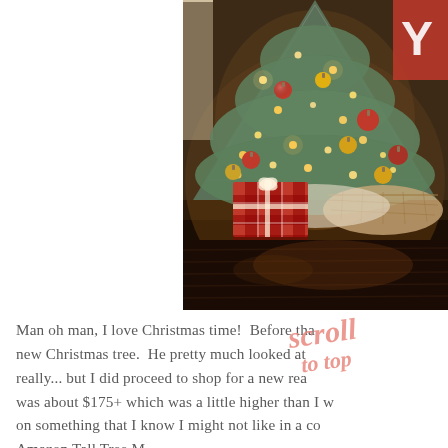[Figure (photo): A flocked Christmas tree decorated with red and gold ornaments and warm white lights, with wrapped presents underneath including a red and white buffalo check gift, on a dark wood floor]
Man oh man, I love Christmas time!  Before tha new Christmas tree.  He pretty much looked at really... but I did proceed to shop for a new rea was about $175+ which was a little higher than I w on something that I know I might not like in a co Amazon Tall Tree M... scroll to top overlay